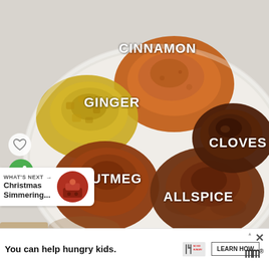[Figure (photo): Overhead photo of a white bowl containing five separate piles of ground spices labeled: CINNAMON (orange-brown, top center), GINGER (yellow-green, top left), NUTMEG (dark brown, bottom left), ALLSPICE (medium brown, bottom center), CLOVES (dark brown, right)]
CINNAMON
GINGER
NUTMEG
ALLSPICE
CLOVES
WHAT'S NEXT → Christmas Simmering...
You can help hungry kids. NO KID HUNGRY LEARN HOW